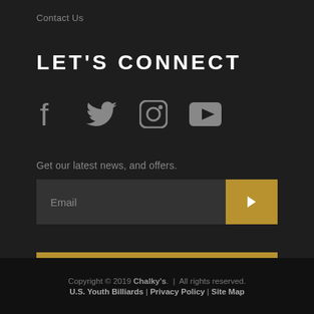Contact Us
LET'S CONNECT
[Figure (other): Social media icons: Facebook, Twitter, Instagram, YouTube]
Get our latest news, and offers.
Email [input field] > [submit button]
WATCH OUR LIVE STREAM
Copyright © 2019 Chalky's. | All rights reserved. U.S. Youth Billiards | Privacy Policy | Site Map